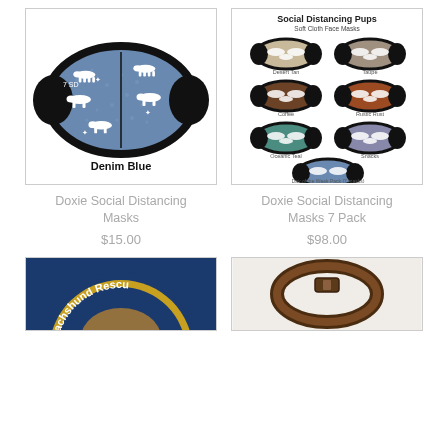[Figure (photo): Face mask in Denim Blue color with white dachshund silhouettes on blue denim pattern, black border, labeled '7 SD' and 'Denim Blue']
[Figure (photo): Social Distancing Pups soft cloth face masks shown in multiple colors: Desert Tan, Taupe, Coffee, Rustic Rust, Oceanic Teal, Snacks, Denim Blue, and Day of the Week Pack (7 masks)]
Doxie Social Distancing Masks
$15.00
Doxie Social Distancing Masks 7 Pack
$98.00
[Figure (photo): Partial view of a circular Dachshund Rescue logo/badge with blue and gold colors]
[Figure (photo): Partial view of a dark brown leather or metal item, possibly a collar or buckle]